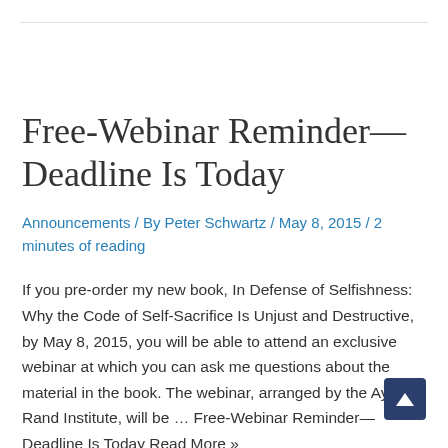Free-Webinar Reminder—Deadline Is Today
Announcements / By Peter Schwartz / May 8, 2015 / 2 minutes of reading
If you pre-order my new book, In Defense of Selfishness: Why the Code of Self-Sacrifice Is Unjust and Destructive, by May 8, 2015, you will be able to attend an exclusive webinar at which you can ask me questions about the material in the book. The webinar, arranged by the Ayn Rand Institute, will be … Free-Webinar Reminder—Deadline Is Today Read More »